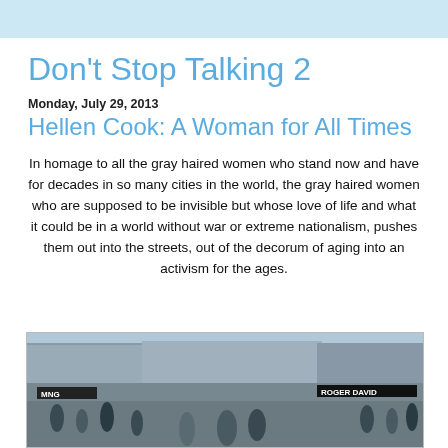Don't Stop Talking 2
Don't Stop Talking 2
Monday, July 29, 2013
Hellen Cook: A Woman for All Times
In homage to all the gray haired women who stand now and have for decades in so many cities in the world, the gray haired women who are supposed to be invisible but whose love of life and what it could be in a world without war or extreme nationalism, pushes them out into the streets, out of the decorum of aging into an activism for the ages.
[Figure (photo): Street scene photograph showing a busy city street with storefronts including MNG and Roger David signs, with people on the sidewalk.]